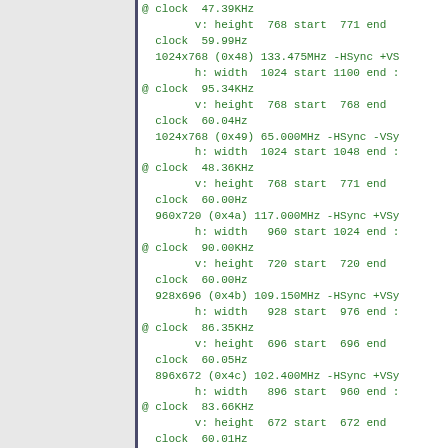@ clock  47.39KHz
        v: height  768 start  771 end
  clock  59.99Hz
  1024x768 (0x48) 133.475MHz -HSync +VS
        h: width  1024 start 1100 end :
@ clock  95.34KHz
        v: height  768 start  768 end
  clock  60.04Hz
  1024x768 (0x49) 65.000MHz -HSync -VSy
        h: width  1024 start 1048 end :
@ clock  48.36KHz
        v: height  768 start  771 end
  clock  60.00Hz
  960x720 (0x4a) 117.000MHz -HSync +VSy
        h: width   960 start 1024 end :
@ clock  90.00KHz
        v: height  720 start  720 end
  clock  60.00Hz
  928x696 (0x4b) 109.150MHz -HSync +VSy
        h: width   928 start  976 end :
@ clock  86.35KHz
        v: height  696 start  696 end
  clock  60.05Hz
  896x672 (0x4c) 102.400MHz -HSync +VSy
        h: width   896 start  960 end :
@ clock  83.66KHz
        v: height  672 start  672 end
  clock  60.01Hz
  800x600 (0x4d) 81.000MHz +HSync +VSy
        h: width   800 start  832 end
@ clock  75.00KHz
        v: height  600 start  600 end
  clock  60.00Hz
  800x600 (0x4e) 40.000MHz +HSync +VSyn
        h: width   800 start  840 end
@ clock  37.88KHz
        v: height  600 start  601 end
  clock  60.32Hz